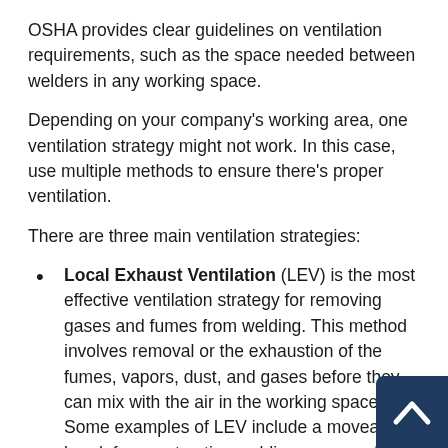OSHA provides clear guidelines on ventilation requirements, such as the space needed between welders in any working space.
Depending on your company's working area, one ventilation strategy might not work. In this case, use multiple methods to ensure there's proper ventilation.
There are three main ventilation strategies:
Local Exhaust Ventilation (LEV) is the most effective ventilation strategy for removing gases and fumes from welding. This method involves removal or the exhaustion of the fumes, vapors, dust, and gases before they can mix with the air in the working space. Some examples of LEV include a moveable hood, fume extraction welding guns, and a downdraft bench.
Mechanical Dilution Ventilation uses